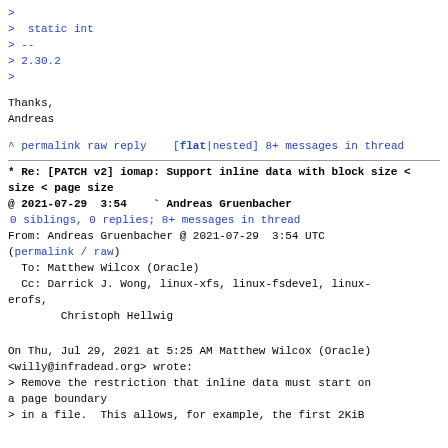>
>  static int
> --
> 2.30.2
>
Thanks,
Andreas
^ permalink raw reply   [flat|nested] 8+ messages in thread
* Re: [PATCH v2] iomap: Support inline data with block size < page size
@ 2021-07-29  3:54    ` Andreas Gruenbacher
  0 siblings, 0 replies; 8+ messages in thread
From: Andreas Gruenbacher @ 2021-07-29  3:54 UTC
(permalink / raw)
  To: Matthew Wilcox (Oracle)
  Cc: Darrick J. Wong, linux-xfs, linux-fsdevel, linux-erofs,
        Christoph Hellwig
On Thu, Jul 29, 2021 at 5:25 AM Matthew Wilcox (Oracle)
<willy@infradead.org> wrote:
> Remove the restriction that inline data must start on a page boundary
> in a file.  This allows, for example, the first 2KiB